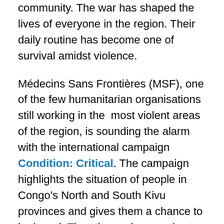community. The war has shaped the lives of everyone in the region. Their daily routine has become one of survival amidst violence.
Médecins Sans Frontières (MSF), one of the few humanitarian organisations still working in the most violent areas of the region, is sounding the alarm with the international campaign Condition: Critical. The campaign highlights the situation of people in Congo's North and South Kivu provinces and gives them a chance to be heard. They themselves are best placed to explain the conditions they face and their needs, to give a face to their suffering.
With the launch of Condition: Critical, MSF wants to highlight the ongoing crisis in the eastern Democratic Republic of Congo. Condition: Critical tells the personal